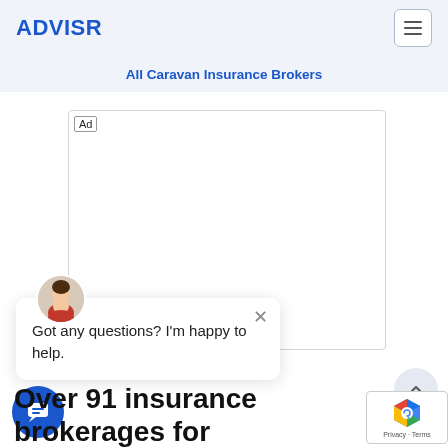ADVISR
All Caravan Insurance Brokers
[Figure (other): Ad placeholder box with 'Ad' label in top-left corner]
Got any questions? I'm happy to help.
Over 91 insurance brokerages for